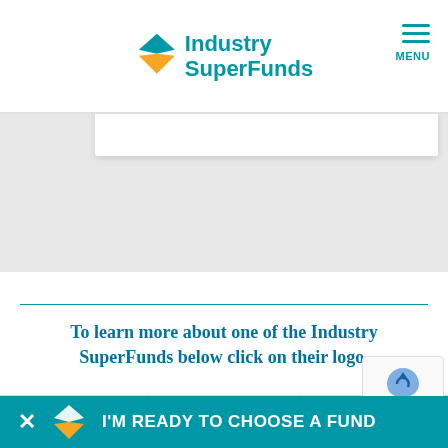Industry SuperFunds — MENU
[Figure (logo): Industry SuperFunds logo with teal diamond/chevron icon and teal text reading 'Industry SuperFunds']
To learn more about one of the Industry SuperFunds below click on their logo.
[Figure (infographic): Three grey placeholder logo cells in a grid layout representing fund logos]
I'M READY TO CHOOSE A FUND